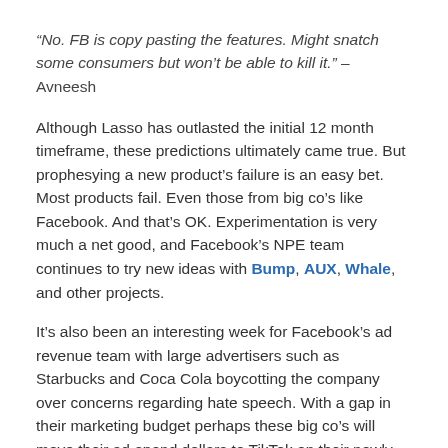“No. FB is copy pasting the features. Might snatch some consumers but won’t be able to kill it.” – Avneesh
Although Lasso has outlasted the initial 12 month timeframe, these predictions ultimately came true. But prophesying a new product’s failure is an easy bet. Most products fail. Even those from big co’s like Facebook. And that’s OK. Experimentation is very much a net good, and Facebook’s NPE team continues to try new ideas with Bump, AUX, Whale, and other projects.
It’s also been an interesting week for Facebook’s ad revenue team with large advertisers such as Starbucks and Coca Cola boycotting the company over concerns regarding hate speech. With a gap in their marketing budget perhaps these big co’s will move their ad-spend dollars to TikTok on their newly launched TikTok for Business platform. Although it’s reported that Zuck isn’t that worried.